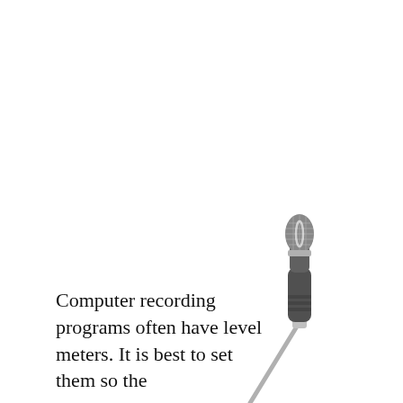[Figure (photo): A handheld dynamic microphone on a stand, photographed against a white background, positioned in the lower-right area of the page.]
Computer recording programs often have level meters. It is best to set them so the